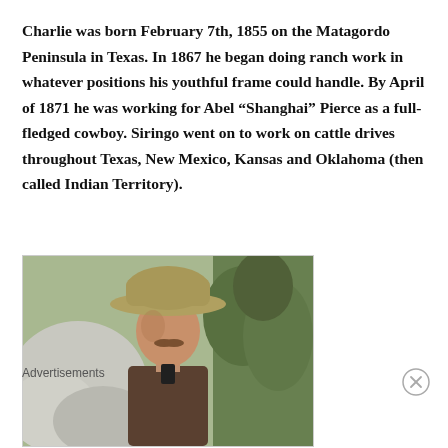Charlie was born February 7th, 1855 on the Matagordo Peninsula in Texas. In 1867 he began doing ranch work in whatever positions his youthful frame could handle. By April of 1871 he was working for Abel “Shanghai” Pierce as a full-fledged cowboy. Siringo went on to work on cattle drives throughout Texas, New Mexico, Kansas and Oklahoma (then called Indian Territory).
[Figure (photo): A man wearing a cowboy hat, seemingly a still from a Western film or TV show, shown from approximately chest up, with rocks on the left side and green foliage in the background.]
Advertisements